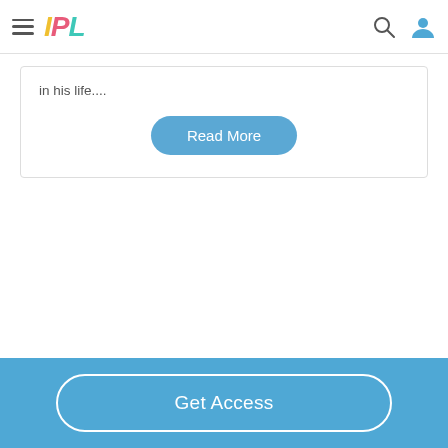IPL
in his life....
[Figure (other): Read More button — rounded blue pill button with white text]
[Figure (other): Get Access button — outlined white rounded rectangle on blue footer background]